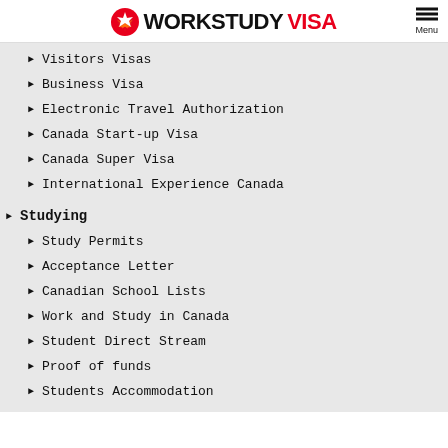[Figure (logo): WorkStudy Visa logo with maple leaf icon, WORKSTUDY in black bold and VISA in red bold]
Visitors Visas
Business Visa
Electronic Travel Authorization
Canada Start-up Visa
Canada Super Visa
International Experience Canada
Studying
Study Permits
Acceptance Letter
Canadian School Lists
Work and Study in Canada
Student Direct Stream
Proof of funds
Students Accommodation